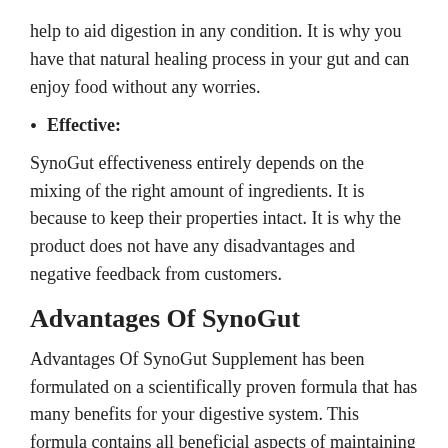help to aid digestion in any condition. It is why you have that natural healing process in your gut and can enjoy food without any worries.
Effective:
SynoGut effectiveness entirely depends on the mixing of the right amount of ingredients. It is because to keep their properties intact. It is why the product does not have any disadvantages and negative feedback from customers.
Advantages Of SynoGut
Advantages Of SynoGut Supplement has been formulated on a scientifically proven formula that has many benefits for your digestive system. This formula contains all beneficial aspects of maintaining your gut health in better condition.